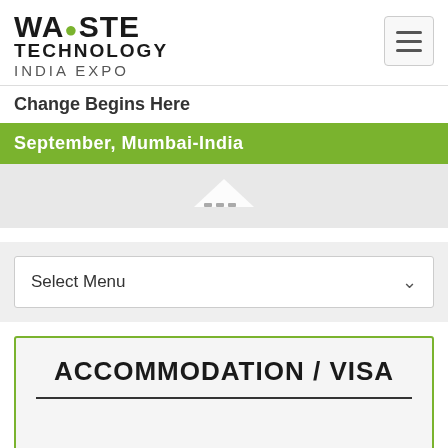[Figure (logo): Waste Technology India Expo logo with green recycling leaf accent]
Change Begins Here
September, Mumbai-India
[Figure (screenshot): Slider/carousel area with navigation arrow]
Select Menu
ACCOMMODATION / VISA